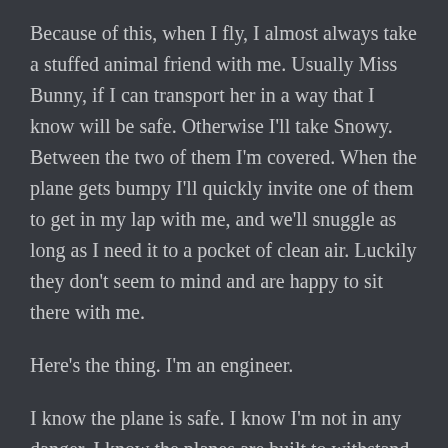Because of this, when I fly, I almost always take a stuffed animal friend with me. Usually Miss Bunny, if I can transport her in a way that I know will be safe. Otherwise I'll take Snowy. Between the two of them I'm covered. When the plane gets bumpy I'll quickly invite one of them to get in my lap with me, and we'll snuggle as long as I need it to a pocket of clean air. Luckily they don't seem to mind and are happy to sit there with me.
Here's the thing. I'm an engineer.
I know the plane is safe. I know I'm not in any danger. I know the planes are built to withstand that. I know you never, ever hear stories of airplanes crashing and people dying because of turbulence, simply because it never